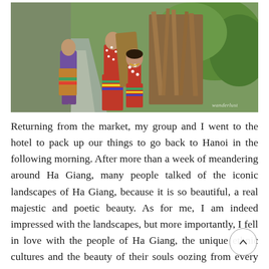[Figure (photo): Photograph of ethnic minority children and adults in traditional colorful clothing walking along a road, carrying bundles of dried grass/crops on their backs. The foreground child wears a red polka-dot top and colorful striped skirt. Green trees visible in background. Watermark 'wanderlust' in bottom right corner.]
Returning from the market, my group and I went to the hotel to pack up our things to go back to Hanoi in the following morning. After more than a week of meandering around Ha Giang, many people talked of the iconic landscapes of Ha Giang, because it is so beautiful, a real majestic and poetic beauty. As for me, I am indeed impressed with the landscapes, but more importantly, I fell in love with the people of Ha Giang, the unique ethnic cultures and the beauty of their souls oozing from every aspect of their daily lives.